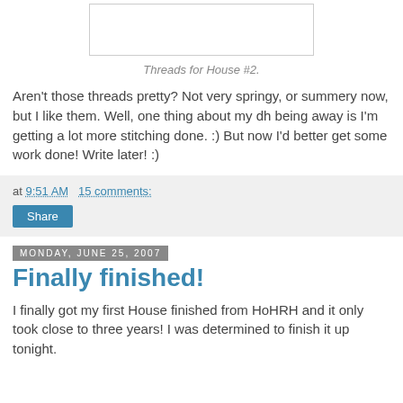[Figure (photo): Placeholder image box showing threads for House #2]
Threads for House #2.
Aren't those threads pretty? Not very springy, or summery now, but I like them. Well, one thing about my dh being away is I'm getting a lot more stitching done. :) But now I'd better get some work done! Write later! :)
at 9:51 AM   15 comments:
Share
Monday, June 25, 2007
Finally finished!
I finally got my first House finished from HoHRH and it only took close to three years! I was determined to finish it up tonight.